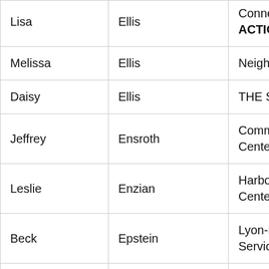| First | Last | Organization |
| --- | --- | --- |
| Lisa | Ellis | Connections, Inc / ACTION Health Services |
| Melissa | Ellis | Neighborcare Health |
| Daisy | Ellis | THE SALVATION ARMY |
| Jeffrey | Ensroth | Community First Health Centers |
| Leslie | Enzian | Harborview Medical Center |
| Beck | Epstein | Lyon-Martin Health Services |
| Dave | Esarey | Colorado Coalition for the Homeless |